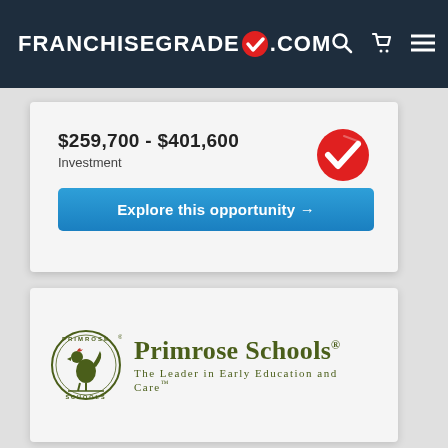[Figure (screenshot): FranchiseGrade.com website navigation bar with logo, search icon, cart icon, and menu icon on dark navy background]
$259,700 - $401,600
Investment
Explore this opportunity →
[Figure (logo): Primrose Schools logo - The Leader in Early Education and Care, with circular emblem showing a rooster]